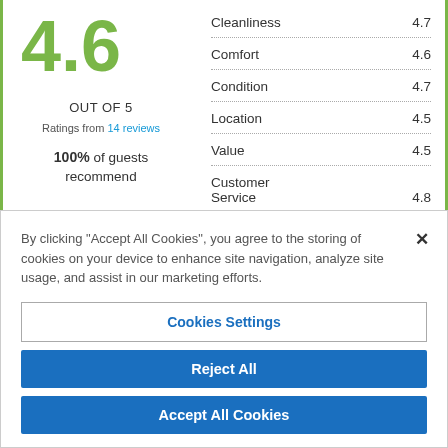4.6
OUT OF 5
Ratings from 14 reviews
100% of guests recommend
| Category | Score |
| --- | --- |
| Cleanliness | 4.7 |
| Comfort | 4.6 |
| Condition | 4.7 |
| Location | 4.5 |
| Value | 4.5 |
| Customer Service | 4.8 |
By clicking "Accept All Cookies", you agree to the storing of cookies on your device to enhance site navigation, analyze site usage, and assist in our marketing efforts.
Cookies Settings
Reject All
Accept All Cookies